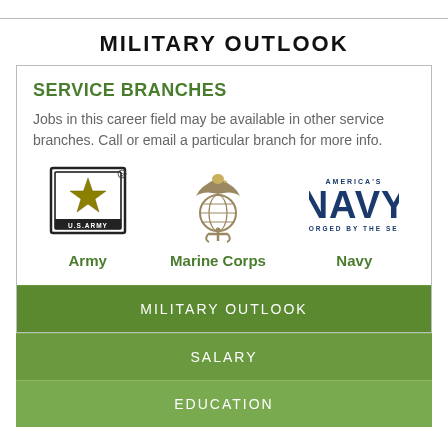MILITARY OUTLOOK
SERVICE BRANCHES
Jobs in this career field may be available in other service branches. Call or email a particular branch for more info.
[Figure (logo): U.S. Army logo with star in black square border]
Army
[Figure (logo): Marine Corps Eagle Globe and Anchor emblem]
Marine Corps
[Figure (logo): America's Navy - Forged by the Sea logo]
Navy
MILITARY OUTLOOK
SALARY
EDUCATION